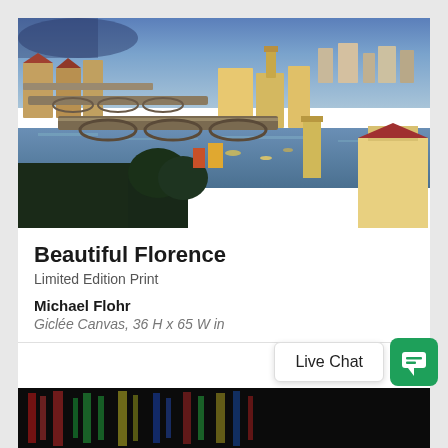[Figure (illustration): Oil painting of Florence, Italy showing the Ponte Vecchio and Arno River bridges at dusk with colorful buildings and blue sky]
Beautiful Florence
Limited Edition Print
Michael Flohr
Giclée Canvas, 36 H x 65 W in
[Figure (illustration): Partial bottom strip of another artwork showing colorful reflections]
Live Chat